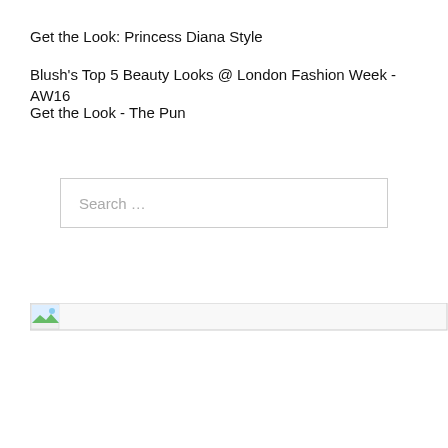Get the Look: Princess Diana Style
Blush's Top 5 Beauty Looks @ London Fashion Week - AW16
Get the Look - The Pun
[Figure (screenshot): Search input box with placeholder text 'Search ...']
[Figure (photo): Broken image placeholder with small icon at bottom of page]